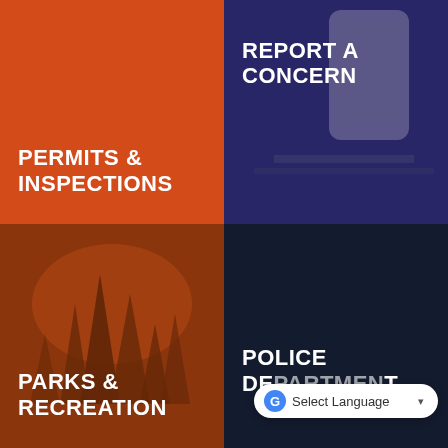[Figure (infographic): Solid orange tile with white bold text reading PERMITS & INSPECTIONS]
[Figure (infographic): Dark blue/purple tile with phone photo background and white bold text reading REPORT A CONCERN]
[Figure (infographic): Dark orange/brown tile with forest/trees photo background and white bold text reading PARKS & RECREATION]
[Figure (infographic): Very dark navy tile with white bold text reading POLICE DEPARTMENT, partially obscured by a Google Translate 'Select Language' dropdown overlay]
Select Language